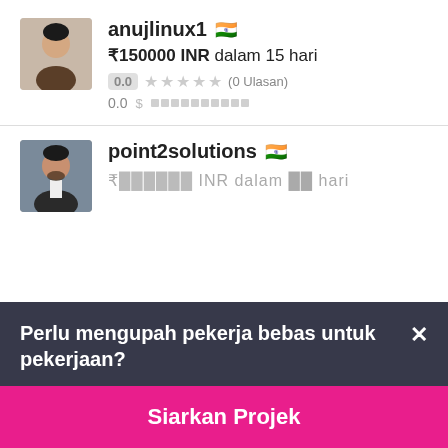anujlinux1 🇮🇳
₹150000 INR dalam 15 hari
0.0 ★★★★★ (0 Ulasan)
0.0
point2solutions 🇮🇳
Perlu mengupah pekerja bebas untuk pekerjaan?
Siarkan Projek